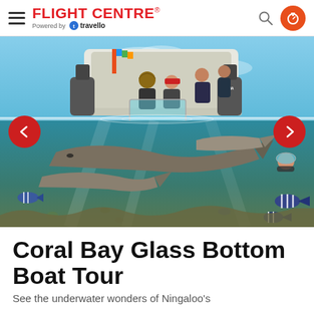FLIGHT CENTRE – Powered by travello
[Figure (photo): Split underwater/above-water photo of a glass bottom boat tour at Coral Bay. Above waterline: several people leaning over the side of a motorboat (Yamaha engine visible) looking down into the water. Below waterline: large fish including what appears to be a nurse shark swimming among tropical fish and coral reef.]
Coral Bay Glass Bottom Boat Tour
See the underwater wonders of Ningaloo's